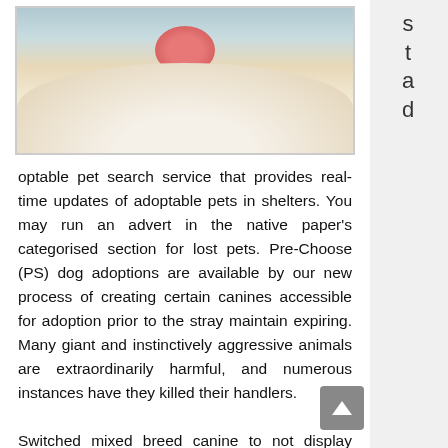[Figure (photo): A white dog with a pink snout/tongue visible, wearing a black collar, photographed from above/front angle.]
stad
optable pet search service that provides real-time updates of adoptable pets in shelters. You may run an advert in the native paper's categorised section for lost pets. Pre-Choose (PS) dog adoptions are available by our new process of creating certain canines accessible for adoption prior to the stray maintain expiring. Many giant and instinctively aggressive animals are extraordinarily harmful, and numerous instances have they killed their handlers.
Switched mixed breed canine to not display when breed is about. Finest Friends presents pictures and information on all their adoptable animals on their web site and even transports animals to accredited